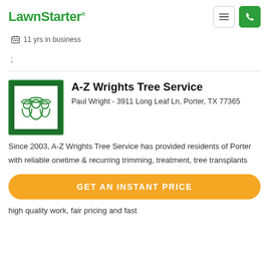LawnStarter
11 yrs in business
;
A-Z Wrights Tree Service
Paul Wright - 3911 Long Leaf Ln, Porter, TX 77365
Since 2003, A-Z Wrights Tree Service has provided residents of Porter with reliable onetime & recurring trimming, treatment, tree transplants
GET AN INSTANT PRICE
high quality work, fair pricing and fast